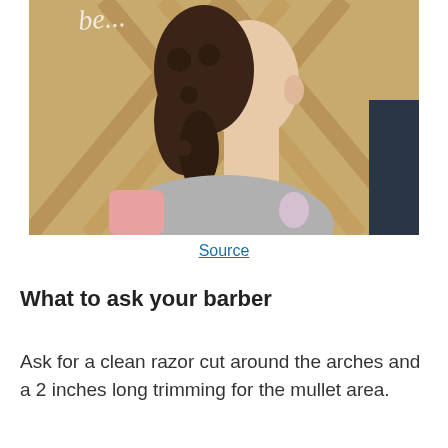[Figure (photo): Side/back view of a person with curly mullet hairstyle wearing a grey sweatshirt, standing in front of a wooden chevron-patterned wall with a script sign reading 'be...' in background]
Source
What to ask your barber
Ask for a clean razor cut around the arches and a 2 inches long trimming for the mullet area.